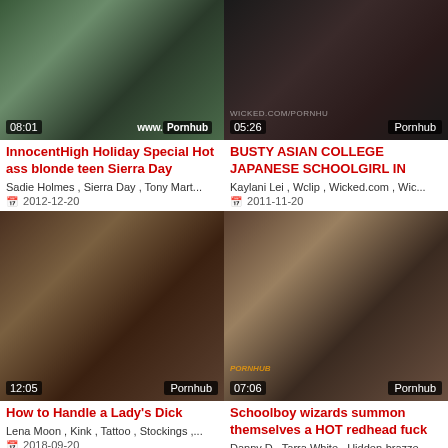[Figure (screenshot): Video thumbnail top left - classroom scene with women, duration 08:01, Pornhub watermark]
[Figure (screenshot): Video thumbnail top right - dark scene, duration 05:26, WICKED.COM/PORNHU watermark, Pornhub label]
InnocentHigh Holiday Special Hot ass blonde teen Sierra Day
BUSTY ASIAN COLLEGE JAPANESE SCHOOLGIRL IN
Sadie Holmes , Sierra Day , Tony Mart...
Kaylani Lei , Wclip , Wicked.com , Wic...
2012-12-20
2011-11-20
[Figure (screenshot): Video thumbnail bottom left - adult scene on couch, duration 12:05, Pornhub watermark]
[Figure (screenshot): Video thumbnail bottom right - adult scene, duration 07:06, PORNHUB watermark, Pornhub label]
How to Handle a Lady's Dick
Schoolboy wizards summon themselves a HOT redhead fuck
Lena Moon , Kink , Tattoo , Stockings ,...
Danny D , Tarra White , Hidden-brazze...
2018-09-20
2013-08-20